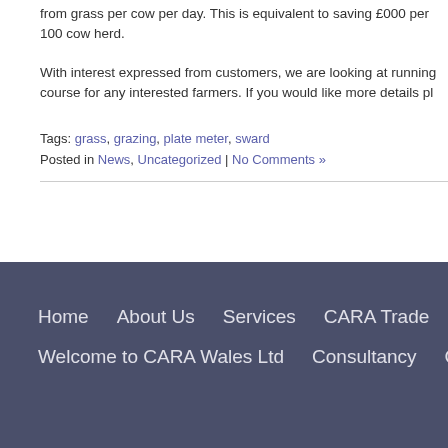from grass per cow per day. This is equivalent to saving £000 per 100 cow herd.
With interest expressed from customers, we are looking at running a course for any interested farmers. If you would like more details ple...
Tags: grass, grazing, plate meter, sward
Posted in News, Uncategorized | No Comments »
Home   About Us   Services   CARA Trade   CARA Blog -   Welcome to CARA Wales Ltd   Consultancy   Contact